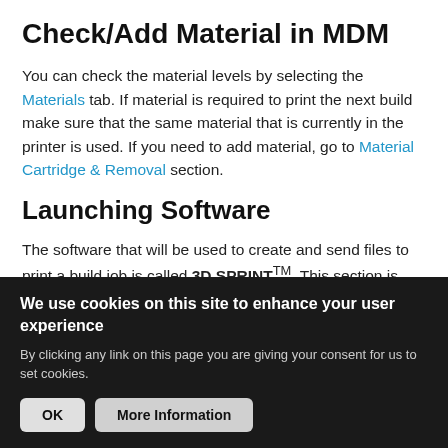Check/Add Material in MDM
You can check the material levels by selecting the Materials tab. If material is required to print the next build make sure that the same material that is currently in the printer is used. If you need to add material, go to Material Cartridge & Removal section.
Launching Software
The software that will be used to create and send files to print a build job is called 3D SPRINT™. This section is designed to walk you through selecting your printer
We use cookies on this site to enhance your user experience
By clicking any link on this page you are giving your consent for us to set cookies.
OK
More Information